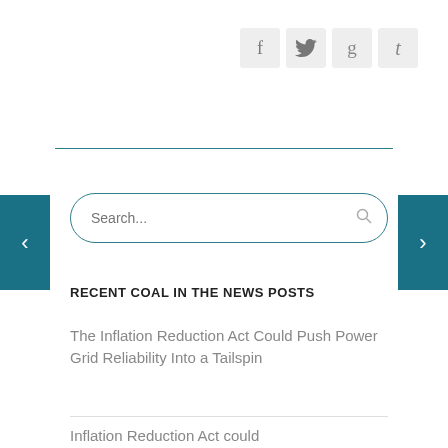[Figure (infographic): Social media sharing icons for Facebook, Twitter, Google+, and Tumblr displayed as grey square buttons]
RECENT COAL IN THE NEWS POSTS
The Inflation Reduction Act Could Push Power Grid Reliability Into a Tailspin
Inflation Reduction Act could